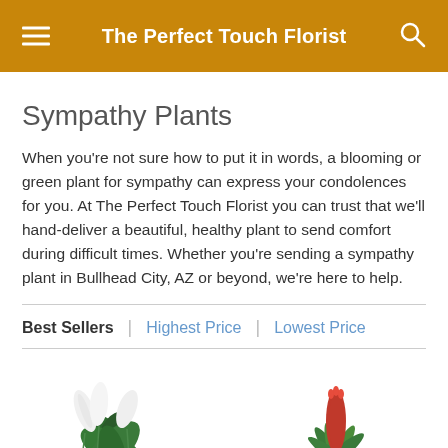The Perfect Touch Florist
Sympathy Plants
When you're not sure how to put it in words, a blooming or green plant for sympathy can express your condolences for you. At The Perfect Touch Florist you can trust that we'll hand-deliver a beautiful, healthy plant to send comfort during difficult times. Whether you're sending a sympathy plant in Bullhead City, AZ or beyond, we're here to help.
Best Sellers | Highest Price | Lowest Price
[Figure (photo): Peace lily plant with white flowers and green leaves]
[Figure (photo): Red bromeliad plant with green leaves]